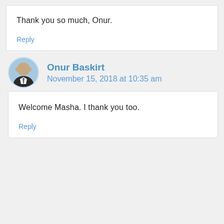Thank you so much, Onur.
Reply
Onur Baskirt
November 15, 2018 at 10:35 am
Welcome Masha. I thank you too.
Reply